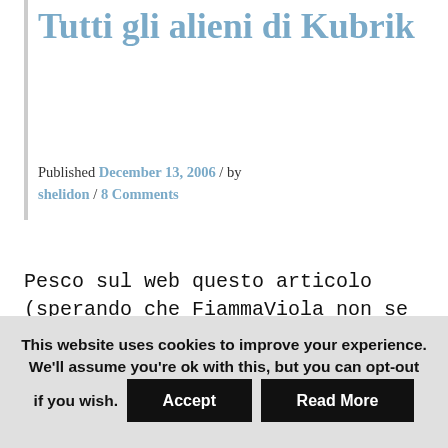Tutti gli alieni di Kubrik
Published December 13, 2006 / by shelidon / 8 Comments
Pesco sul web questo articolo (sperando che FiammaViola non se ne abbia a male). "È ragionevole supporre che esistano innumerevoli miliardi di pianeti in cui siano comparse forme di vita biologiche e le probabilità che tali forme abbiano sviluppato l'intelligenza sono molto alte".
This website uses cookies to improve your experience. We'll assume you're ok with this, but you can opt-out if you wish. Accept Read More